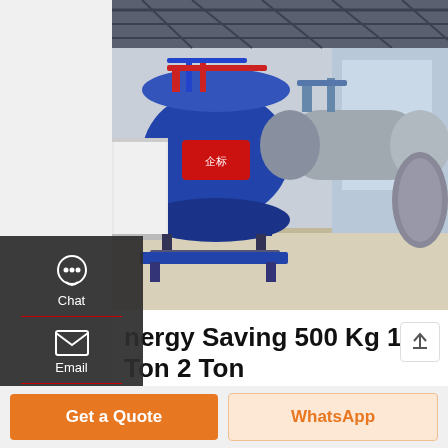[Figure (photo): Industrial boiler manufacturing facility showing large blue cylindrical steam boilers with red and blue piping, white metal cabinets, and a bright factory floor with steel ceiling structure]
Energy Saving 500 Kg 1 Ton 2 Ton Electric Steam Boiler For
China Energy Saving 500 Kg 1 Ton 2 Ton Electric Steam Boiler for Industrial Use, Find details about China Steam Boiler, Electric from Energy Saving 500 Kg 1 Ton 2 Ton Electric Steam Boiler for Industrial Use - Henan Taiguo Boiler Manufacturing Co.,